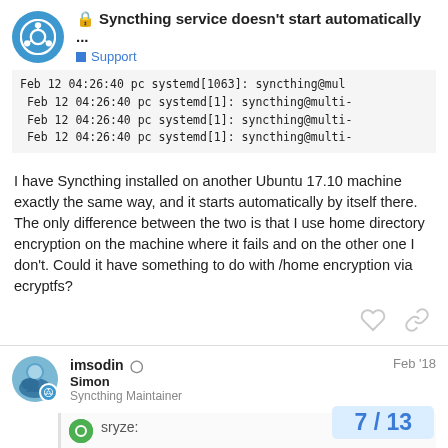Syncthing service doesn't start automatically ... Support
Feb 12 04:26:40 pc systemd[1063]: syncthing@mul
Feb 12 04:26:40 pc systemd[1]: syncthing@multi-
Feb 12 04:26:40 pc systemd[1]: syncthing@multi-
Feb 12 04:26:40 pc systemd[1]: syncthing@multi-
I have Syncthing installed on another Ubuntu 17.10 machine exactly the same way, and it starts automatically by itself there. The only difference between the two is that I use home directory encryption on the machine where it fails and on the other one I don't. Could it have something to do with /home encryption via ecryptfs?
imsodin Simon Syncthing Maintainer Feb '18
sryze:
7 / 13